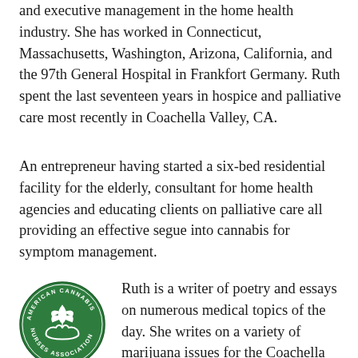and executive management in the home health industry. She has worked in Connecticut, Massachusetts, Washington, Arizona, California, and the 97th General Hospital in Frankfort Germany. Ruth spent the last seventeen years in hospice and palliative care most recently in Coachella Valley, CA.
An entrepreneur having started a six-bed residential facility for the elderly, consultant for home health agencies and educating clients on palliative care all providing an effective segue into cannabis for symptom management.
[Figure (logo): American Cannabis Nurses Association circular green logo with cannabis leaf and hands]
Ruth is a writer of poetry and essays on numerous medical topics of the day. She writes on a variety of marijuana issues for the Coachella Valley Weekly